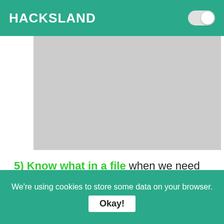HACKSLAND
[Figure (other): Gray placeholder image area]
5) Know what in a file when we need to quickly check what inside a file we use cat command.
We're using cookies to store some data on your browser. Okay!